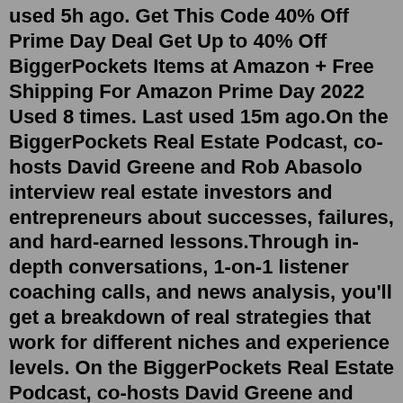used 5h ago. Get This Code 40% Off Prime Day Deal Get Up to 40% Off BiggerPockets Items at Amazon + Free Shipping For Amazon Prime Day 2022 Used 8 times. Last used 15m ago.On the BiggerPockets Real Estate Podcast, co-hosts David Greene and Rob Abasolo interview real estate investors and entrepreneurs about successes, failures, and hard-earned lessons.Through in-depth conversations, 1-on-1 listener coaching calls, and news analysis, you'll get a breakdown of real strategies that work for different niches and experience levels. On the BiggerPockets Real Estate Podcast, co-hosts David Greene and Rob Abasolo interview real estate investors and entrepreneurs about successes, failures, and hard-earned lessons.Through in-depth conversations, 1-on-1 listener coaching calls, and news analysis, you'll get a breakdown of real strategies that work for different niches and experience levels. BiggerPockets is an educational platform centered around real estate investment. It was founded by Joshua Dorkin in October 2004. Other prominent figures at